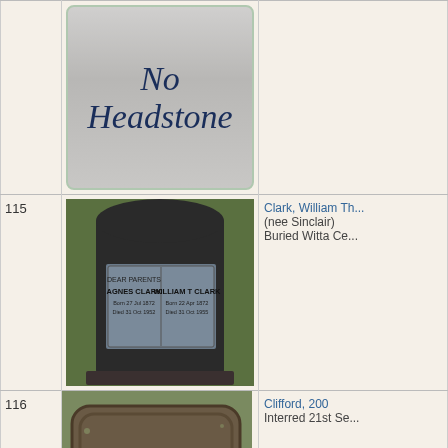[Figure (photo): No Headstone placeholder image with silver/grey gradient background and dark blue italic text reading 'No Headstone']
115
[Figure (photo): Photograph of a dark stone headstone with a metal plaque showing 'Agnes Clark' and 'William T Clark' with dates, set on green grass]
Clark, William Th...
(nee Sinclair)
Buried Witta Ce...
116
[Figure (photo): Photograph of a weathered rectangular grave marker stone with the number 200 carved or molded into it, mossy and aged]
Clifford, 200
Interred 21st Se...